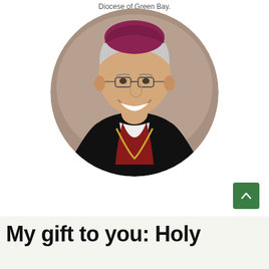Diocese of Green Bay.
[Figure (photo): Circular portrait photo of a Catholic bishop wearing black vestments with red trim and a gold chain, smiling, with a purple zucchetto (skullcap). Gray background.]
My gift to you: Holy